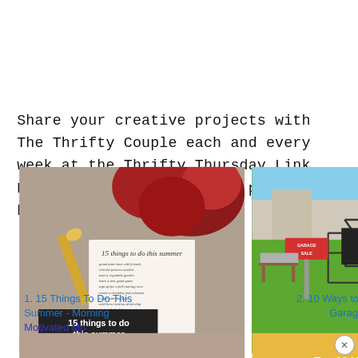Share your creative projects with The Thrifty Couple each and every week at the Thrifty Thursday Link Party!  Just link up your posts below.
[Figure (photo): Photo of summer-themed list titled '15 things to do this summer' with roses and a golden spoon in the background]
[Figure (photo): Photo of a garage sale outdoors with a GARAGE SALE sign and items for sale on a green lawn]
1. 15 Things To Do This Summer - Morning Motivated Mo
2. 10 Ways to Have a Great Garage Sale!
[Figure (photo): Partially visible image at bottom left (thumbnail)]
[Figure (photo): Partially visible image at bottom right with text 'Top 30 Money Tips']